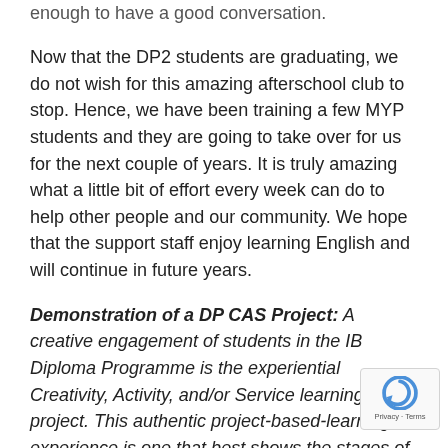enough to have a good conversation.
Now that the DP2 students are graduating, we do not wish for this amazing afterschool club to stop. Hence, we have been training a few MYP students and they are going to take over for us for the next couple of years. It is truly amazing what a little bit of effort every week can do to help other people and our community. We hope that the support staff enjoy learning English and will continue in future years.
Demonstration of a DP CAS Project: A creative engagement of students in the IB Diploma Programme is the experiential Creativity, Activity, and/or Service learning project. This authentic project-based-learning experience is one that best shows the stages of investigation, collaboration, preparation, action and demonstration.
By Malaika Mehta (DP2)